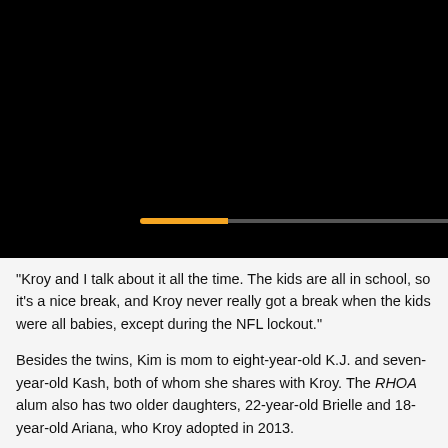[Figure (screenshot): Black video player area with an orange and gray progress bar near the bottom]
"Kroy and I talk about it all the time. The kids are all in school, so it's a nice break, and Kroy never really got a break when the kids were all babies, except during the NFL lockout."
Besides the twins, Kim is mom to eight-year-old K.J. and seven-year-old Kash, both of whom she shares with Kroy. The RHOA alum also has two older daughters, 22-year-old Brielle and 18-year-old Ariana, who Kroy adopted in 2013.